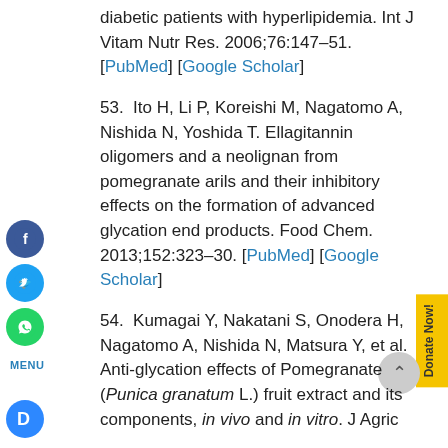diabetic patients with hyperlipidemia. Int J Vitam Nutr Res. 2006;76:147–51. [PubMed] [Google Scholar]
53. Ito H, Li P, Koreishi M, Nagatomo A, Nishida N, Yoshida T. Ellagitannin oligomers and a neolignan from pomegranate arils and their inhibitory effects on the formation of advanced glycation end products. Food Chem. 2013;152:323–30. [PubMed] [Google Scholar]
54. Kumagai Y, Nakatani S, Onodera H, Nagatomo A, Nishida N, Matsura Y, et al. Anti-glycation effects of Pomegranate (Punica granatum L.) fruit extract and its components, in vivo and in vitro. J Agric…